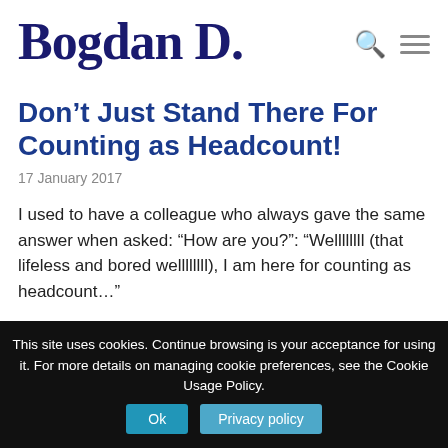Bogdan D.
Don’t Just Stand There For Counting as Headcount!
17 January 2017
I used to have a colleague who always gave the same answer when asked: “How are you?”: “Wellllllll (that lifeless and bored wellllllll), I am here for counting as headcount…”
This site uses cookies. Continue browsing is your acceptance for using it. For more details on managing cookie preferences, see the Cookie Usage Policy.